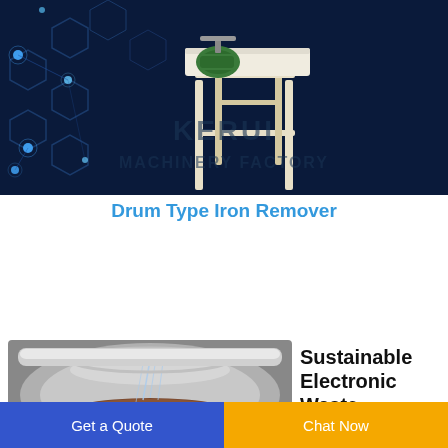[Figure (photo): Industrial drum type iron remover machine on a stand with roller, displayed against a dark navy blue background with hexagonal patterns and glowing blue dots. 'KERUI MACHINERY FACTORY' text watermark overlaid in large dark letters.]
Drum Type Iron Remover
[Figure (photo): Close-up photo of a rotating drum/bowl with material (appears to be granulated metal or electronic waste) being processed inside a shiny metallic cylindrical container.]
Sustainable Electronic Waste
Get a Quote   Chat Now